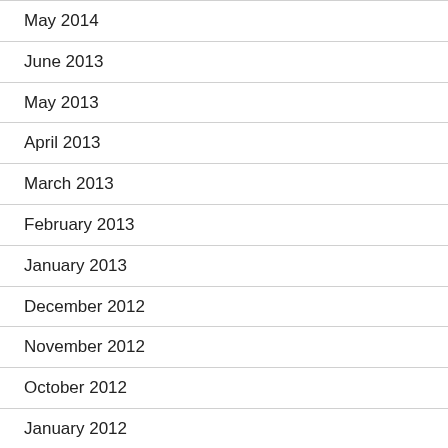May 2014
June 2013
May 2013
April 2013
March 2013
February 2013
January 2013
December 2012
November 2012
October 2012
January 2012